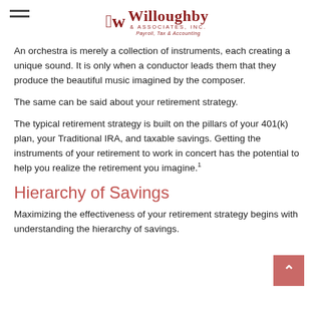Willoughby & Associates, Inc. — Payroll, Tax & Accounting
An orchestra is merely a collection of instruments, each creating a unique sound. It is only when a conductor leads them that they produce the beautiful music imagined by the composer.
The same can be said about your retirement strategy.
The typical retirement strategy is built on the pillars of your 401(k) plan, your Traditional IRA, and taxable savings. Getting the instruments of your retirement to work in concert has the potential to help you realize the retirement you imagine.¹
Hierarchy of Savings
Maximizing the effectiveness of your retirement strategy begins with understanding the hierarchy of savings.